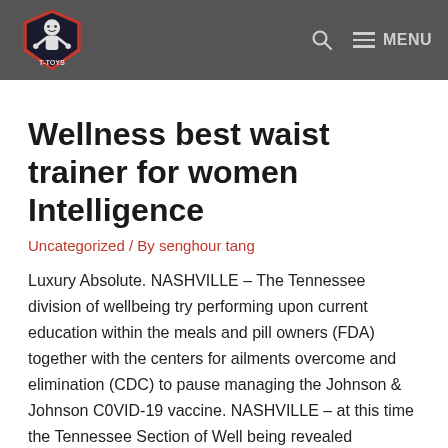T-TOYS [logo] / Search / MENU
Wellness best waist trainer for women Intelligence
Uncategorized / By senghour tang
Luxury Absolute. NASHVILLE – The Tennessee division of wellbeing try performing upon current education within the meals and pill owners (FDA) together with the centers for ailments overcome and elimination (CDC) to pause managing the Johnson & Johnson C0VID-19 vaccine. NASHVILLE – at this time the Tennessee Section of Well being revealed consequence from a alternative event, statewide quantitative and qualitative survey beyond 1,000 mature Tennesseans discovering beliefs round the COVID-19 vaccine. The zany world of "Rocko's Contemporary…